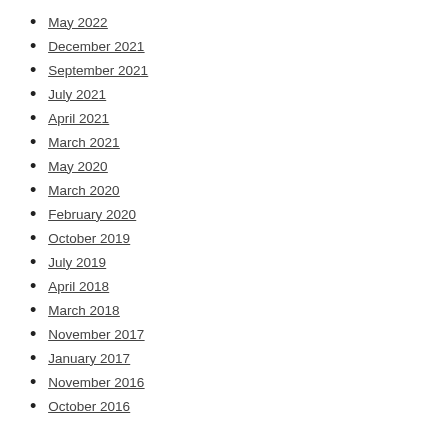May 2022
December 2021
September 2021
July 2021
April 2021
March 2021
May 2020
March 2020
February 2020
October 2019
July 2019
April 2018
March 2018
November 2017
January 2017
November 2016
October 2016